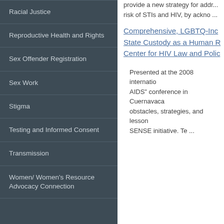provide a new strategy for addressing risk of STIs and HIV, by ackno ...
Comprehensive, LGBTQ-Inc State Custody as a Human R Center for HIV Law and Polic
Racial Justice
Reproductive Health and Rights
Sex Offender Registration
Sex Work
Stigma
Testing and Informed Consent
Transmission
Women/ Women's Resource Advocacy Connection
Presented at the 2008 internatio AIDS" conference in Cuernavaca obstacles, strategies, and lesson SENSE initiative. Te ...